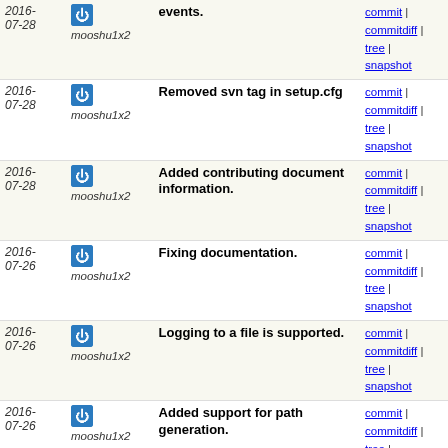| Date | Author | Message | Links |
| --- | --- | --- | --- |
| 2016-07-28 | mooshu1x2 | events. | commit | commitdiff | tree | snapshot |
| 2016-07-28 | mooshu1x2 | Removed svn tag in setup.cfg | commit | commitdiff | tree | snapshot |
| 2016-07-28 | mooshu1x2 | Added contributing document information. | commit | commitdiff | tree | snapshot |
| 2016-07-26 | mooshu1x2 | Fixing documentation. | commit | commitdiff | tree | snapshot |
| 2016-07-26 | mooshu1x2 | Logging to a file is supported. | commit | commitdiff | tree | snapshot |
| 2016-07-26 | mooshu1x2 | Added support for path generation. | commit | commitdiff | tree | snapshot |
| 2016-07-26 | mooshu1x2 | Added more examples | commit | commitdiff | tree | snapshot |
| 2016-07-26 | mooshu1x2 | version handling | commit | commitdiff | tree | snapshot |
| 2016-07-26 | mooshu1x2 | Updated documentation. | commit | commitdiff | tree | snapshot |
| 2016-07-15 | mooshu1x2 | Added examples tests instrumented with userale. | commit | commitdiff | tree | snapshot |
| 2016-07-15 | mooshu1x2 | Userale.pyqt beta version. Tracks mouse, keyboard,... | commit | commitdiff | tree | snapshot |
| 2016-07-15 | mooshu1x2 | Updated requirements and added version file. | commit | commitdiff | tree | snapshot |
| 2016-07-15 | mooshu1x2 | Updated documentation. Included brief instrumentation | commit | commitdiff | tree | snapshot |